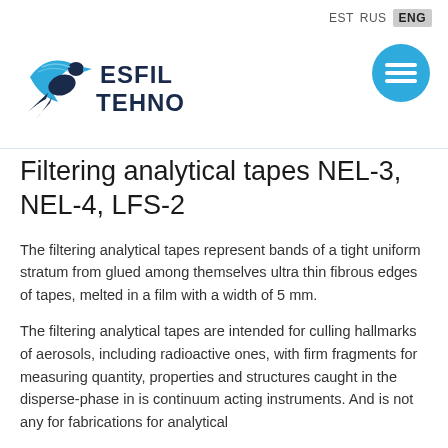EST  RUS  ENG
[Figure (logo): Esfil Tehno company logo with stylized bird/wing shape in blue and dark navy, company name ESFIL TEHNO in bold serif text]
[Figure (other): Blue circular hamburger/menu button with three horizontal white lines]
Filtering analytical tapes NEL-3, NEL-4, LFS-2
The filtering analytical tapes represent bands of a tight uniform stratum from glued among themselves ultra thin fibrous edges of tapes, melted in a film with a width of 5 mm.
The filtering analytical tapes are intended for culling hallmarks of aerosols, including radioactive ones, with firm fragments for measuring quantity, properties and structures caught in the disperse-phase in is continuum acting instruments. And is not any for fabrications for analytical